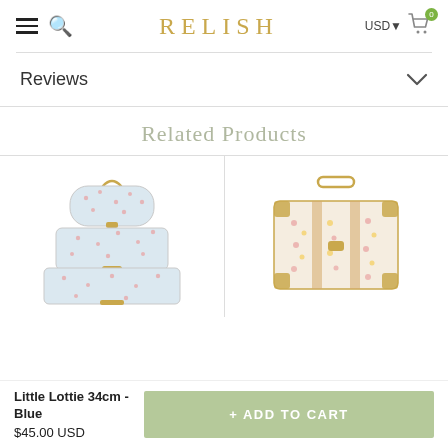RELISH — USD — Cart (0)
Reviews
Related Products
[Figure (photo): Stack of three floral suitcases with gold hardware, blue/white with pink floral pattern]
[Figure (photo): Single floral suitcase with gold corner hardware, pink and yellow floral pattern on cream background]
Little Lottie 34cm - Blue
$45.00 USD